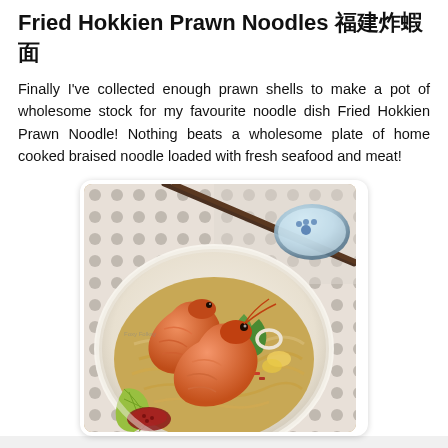Fried Hokkien Prawn Noodles 福建炒虾面
Finally I've collected enough prawn shells to make a pot of wholesome stock for my favourite noodle dish Fried Hokkien Prawn Noodle! Nothing beats a wholesome plate of home cooked braised noodle loaded with fresh seafood and meat!
[Figure (photo): A white bowl of Fried Hokkien Prawn Noodles with large orange prawns on top, squid rings, green vegetables, and noodles. A small lime wedge and sambal chili are on the side. Chopsticks and a blue-and-white bowl visible in the background on a polka-dot tablecloth.]